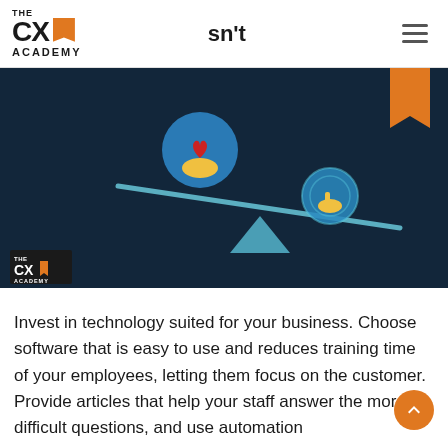THE CX ACADEMY
[Figure (illustration): A dark navy blue illustration showing a balance/seesaw with a teal triangle fulcrum in the center. On the left side of the seesaw, a blue circular icon with a hand holding a red heart floats above the beam (heavier side, tilted down). On the right side, a smaller blue circular icon with a pointing hand cursor rests on the beam (lighter side, tilted up). The CX Academy logo is in the bottom-left corner. An orange bookmark ribbon is in the top-right corner.]
Invest in technology suited for your business. Choose software that is easy to use and reduces training time of your employees, letting them focus on the customer. Provide articles that help your staff answer the more difficult questions, and use automation